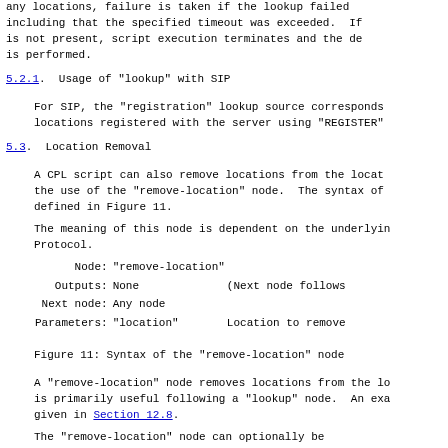any locations, failure is taken if the lookup failed including that the specified timeout was exceeded. If is not present, script execution terminates and the d is performed.
5.2.1.  Usage of "lookup" with SIP
For SIP, the "registration" lookup source corresponds locations registered with the server using "REGISTER"
5.3.  Location Removal
A CPL script can also remove locations from the locat the use of the "remove-location" node.  The syntax of defined in Figure 11.
The meaning of this node is dependent on the underlyin Protocol.
| Property | Value | Description |
| --- | --- | --- |
| Node: | "remove-location" |  |
| Outputs: | None | (Next node follows |
| Next node: | Any node |  |
| Parameters: | "location" | Location to remove |
Figure 11: Syntax of the "remove-location" node
A "remove-location" node removes locations from the lo is primarily useful following a "lookup" node.  An exa given in Section 12.8.
The "remove-location" node can optionally be